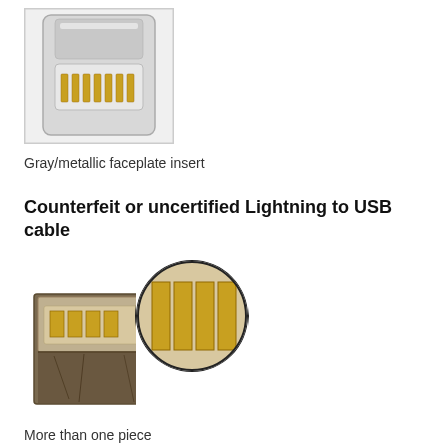[Figure (photo): Photo of a genuine Lightning connector showing a gray/metallic faceplate insert with gold contacts/pins visible on the insert face, silver metallic housing.]
Gray/metallic faceplate insert
Counterfeit or uncertified Lightning to USB cable
[Figure (photo): Photo of a counterfeit Lightning connector showing more than one piece construction with a circular magnified inset highlighting the squared gold contacts. The connector has a rough, inconsistent finish with visible seams.]
More than one piece
Rough or inconsistent finish
Squared contacts with an uneven surface